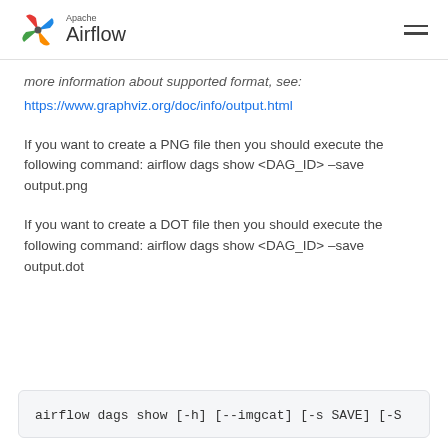Apache Airflow
more information about supported format, see:
https://www.graphviz.org/doc/info/output.html
If you want to create a PNG file then you should execute the following command: airflow dags show <DAG_ID> –save output.png
If you want to create a DOT file then you should execute the following command: airflow dags show <DAG_ID> –save output.dot
airflow dags show [-h] [--imgcat] [-s SAVE] [-S